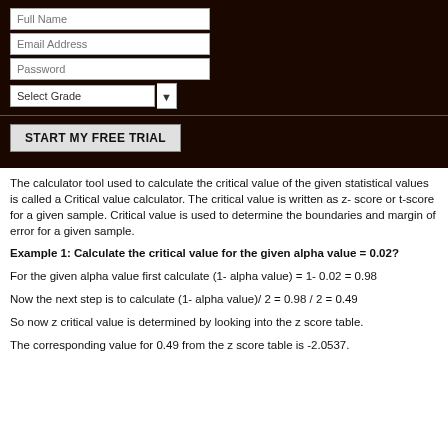[Figure (screenshot): Dark brown header with form fields: Full Name, Email Address, Password text inputs, a Select Grade dropdown, a horizontal divider, and a START MY FREE TRIAL button]
The calculator tool used to calculate the critical value of the given statistical values is called a Critical value calculator. The critical value is written as z- score or t-score for a given sample. Critical value is used to determine the boundaries and margin of error for a given sample.
Example 1: Calculate the critical value for the given alpha value = 0.02?
For the given alpha value first calculate (1- alpha value) = 1- 0.02 = 0.98
Now the next step is to calculate (1- alpha value)/ 2 = 0.98 / 2 = 0.49
So now z critical value is determined by looking into the z score table.
The corresponding value for 0.49 from the z score table is -2.0537.